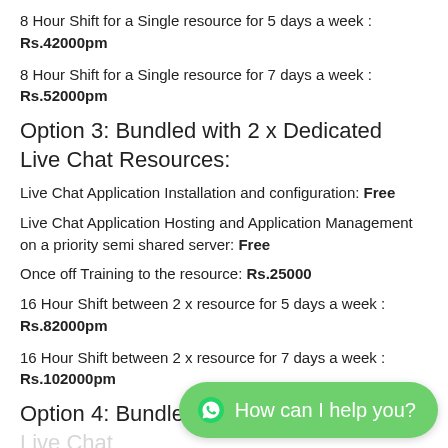8 Hour Shift for a Single resource for 5 days a week : Rs.42000pm
8 Hour Shift for a Single resource for 7 days a week : Rs.52000pm
Option 3: Bundled with 2 x Dedicated Live Chat Resources:
Live Chat Application Installation and configuration: Free
Live Chat Application Hosting and Application Management on a priority semi shared server: Free
Once off Training to the resource: Rs.25000
16 Hour Shift between 2 x resource for 5 days a week : Rs.82000pm
16 Hour Shift between 2 x resource for 7 days a week : Rs.102000pm
Option 4: Bundled with... Resources: